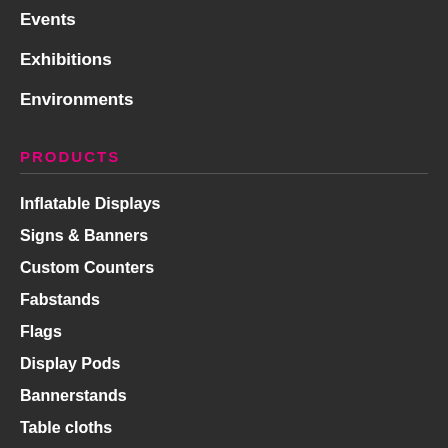Events
Exhibitions
Environments
PRODUCTS
Inflatable Displays
Signs & Banners
Custom Counters
Fabstands
Flags
Display Pods
Bannerstands
Table cloths